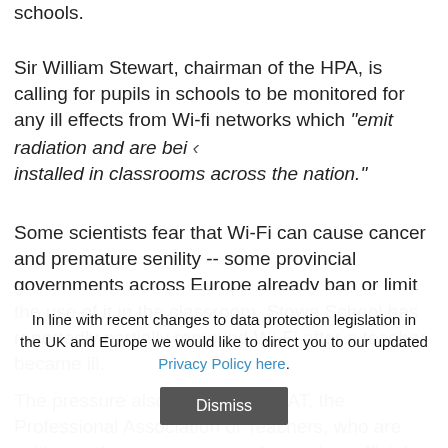schools.
Sir William Stewart, chairman of the HPA, is calling for pupils in schools to be monitored for any ill effects from Wi-fi networks which "emit radiation and are bei installed in classrooms across the nation."
Some scientists fear that Wi-Fi can cause cancer and premature senility -- some provincial governments across Europe already ban or limit the use of it in the classroom. Stowe School has reportedly partially removed Wi-Fi after a teacher became ill.
The pressure also comes from PAT, the Professional Association of Teachers, who are writing to the government to demand an official inquiry into what the
In line with recent changes to data protection legislation in the UK and Europe we would like to direct you to our updated Privacy Policy here.
Dismiss